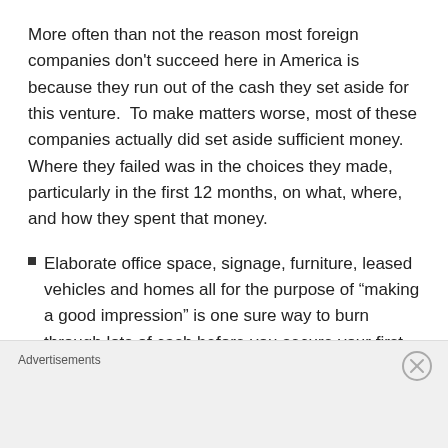More often than not the reason most foreign companies don't succeed here in America is because they run out of the cash they set aside for this venture.  To make matters worse, most of these companies actually did set aside sufficient money.  Where they failed was in the choices they made, particularly in the first 12 months, on what, where, and how they spent that money.
Elaborate office space, signage, furniture, leased vehicles and homes all for the purpose of “making a good impression” is one sure way to burn through lots of cash before you secure your first customer.
The time taken flailing around trying to find a sales strategy and message that works in this market is
Advertisements